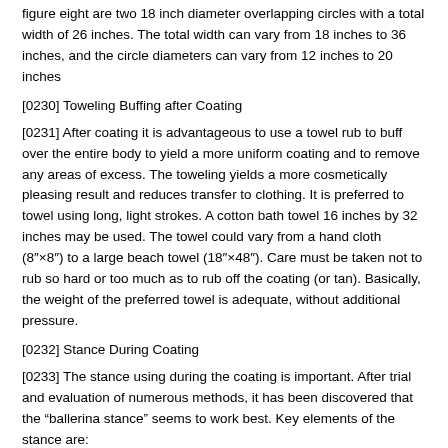figure eight are two 18 inch diameter overlapping circles with a total width of 26 inches. The total width can vary from 18 inches to 36 inches, and the circle diameters can vary from 12 inches to 20 inches
[0230] Toweling Buffing after Coating
[0231] After coating it is advantageous to use a towel rub to buff over the entire body to yield a more uniform coating and to remove any areas of excess. The toweling yields a more cosmetically pleasing result and reduces transfer to clothing. It is preferred to towel using long, light strokes. A cotton bath towel 16 inches by 32 inches may be used. The towel could vary from a hand cloth (8″×8″) to a large beach towel (18″×48″). Care must be taken not to rub so hard or too much as to rub off the coating (or tan). Basically, the weight of the preferred towel is adequate, without additional pressure.
[0232] Stance During Coating
[0233] The stance using during the coating is important. After trial and evaluation of numerous methods, it has been discovered that the “ballerina stance” seems to work best. Key elements of the stance are:
[0234] hands over the head
[0235] preferred 2 inches
[0236] lower limit – hands touching head